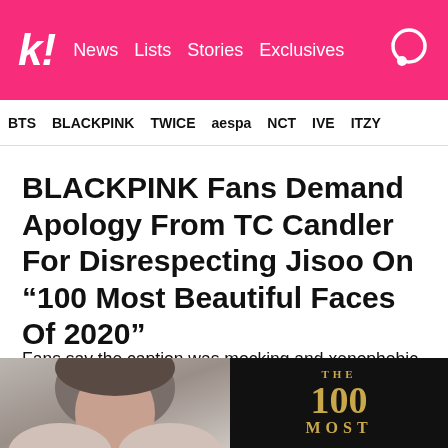k! News Lists Stories Exclusives
BTS BLACKPINK TWICE aespa NCT IVE ITZY
BLACKPINK Fans Demand Apology From TC Candler For Disrespecting Jisoo On “100 Most Beautiful Faces Of 2020”
Fans say the caption was mocking and xenophobic, and they weren’t happy with TC Candler’s response.
[Figure (photo): Two side-by-side images at the bottom: left shows a person (Jisoo), right shows a dark background with gold text reading THE 100 MOST]